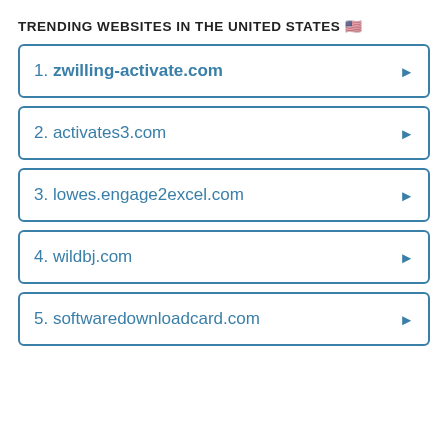TRENDING WEBSITES IN THE UNITED STATES 🇺🇸
1. zwilling-activate.com
2. activates3.com
3. lowes.engage2excel.com
4. wildbj.com
5. softwaredownloadcard.com